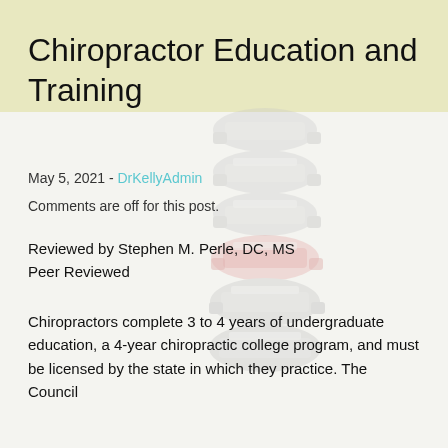Training
[Figure (photo): Anatomical illustration of a human spine with vertebrae visible and a highlighted (red) area on one of the lower vertebrae, shown on a light background. The image serves as a background watermark for the page.]
Chiropractor Education and Training
May 5, 2021 - DrKellyAdmin
Comments are off for this post.
Reviewed by Stephen M. Perle, DC, MS
Peer Reviewed
Chiropractors complete 3 to 4 years of undergraduate education, a 4-year chiropractic college program, and must be licensed by the state in which they practice. The Council